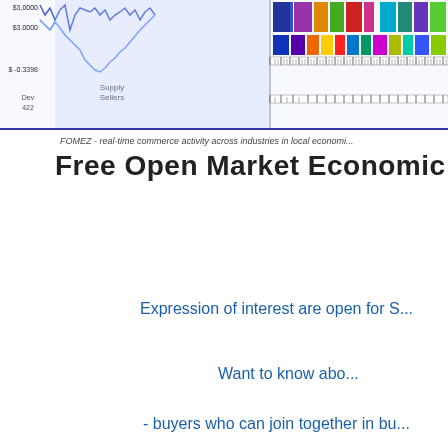[Figure (infographic): Bar chart / market display with colored vertical bars representing supply sellers and market activity. Left side shows price axis with values like $3.0000 and $-0.3398, labeled 'Dev 422' and 'Supply Sellers'. Multiple colored rectangular bars in various colors (blue, green, red, orange, yellow, purple, cyan, teal, etc.) span across the top portion.]
FOMEZ  -  real-time commerce activity across industries in local economi...
Free Open Market Economic Zones  -  FO
Expression of interest are open for S...
Want to know abo...
-  buyers who can join together in bu...